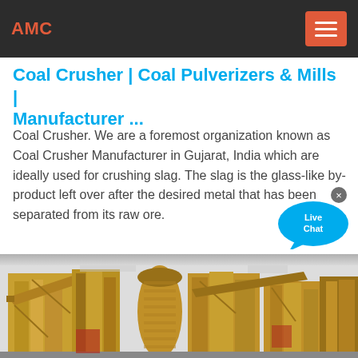AMC
Coal Crusher | Coal Pulverizers & Mills | Manufacturer ...
Coal Crusher. We are a foremost organization known as Coal Crusher Manufacturer in Gujarat, India which are ideally used for crushing slag. The slag is the glass-like by-product left over after the desired metal that has been separated from its raw ore.
[Figure (photo): Industrial coal crusher machinery — large yellow steel structure with conveyor systems, silos, and processing equipment at a manufacturing site in Gujarat, India.]